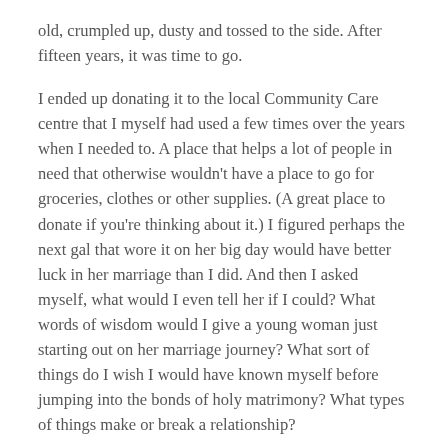old, crumpled up, dusty and tossed to the side. After fifteen years, it was time to go.
I ended up donating it to the local Community Care centre that I myself had used a few times over the years when I needed to. A place that helps a lot of people in need that otherwise wouldn't have a place to go for groceries, clothes or other supplies. (A great place to donate if you're thinking about it.) I figured perhaps the next gal that wore it on her big day would have better luck in her marriage than I did. And then I asked myself, what would I even tell her if I could? What words of wisdom would I give a young woman just starting out on her marriage journey? What sort of things do I wish I would have known myself before jumping into the bonds of holy matrimony? What types of things make or break a relationship?
To The Woman Wearing My Wedding D...